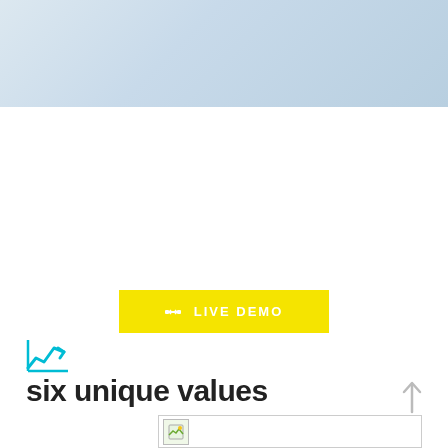[Figure (illustration): Light blue gradient banner at top of page]
[Figure (other): Yellow button labeled LIVE DEMO with a horizontal resize/expand icon]
[Figure (other): Cyan line chart icon with upward trend arrow]
six unique values
[Figure (other): Up arrow navigation icon in light gray on right side]
[Figure (other): Image placeholder box with small thumbnail icon]